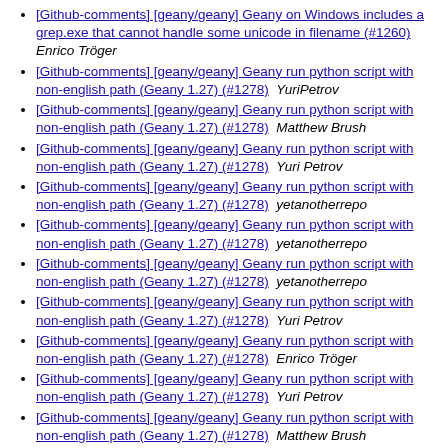[Github-comments] [geany/geany] Geany on Windows includes a grep.exe that cannot handle some unicode in filename (#1260)  Enrico Tröger
[Github-comments] [geany/geany] Geany run python script with non-english path (Geany 1.27) (#1278)  YuriPetrov
[Github-comments] [geany/geany] Geany run python script with non-english path (Geany 1.27) (#1278)  Matthew Brush
[Github-comments] [geany/geany] Geany run python script with non-english path (Geany 1.27) (#1278)  Yuri Petrov
[Github-comments] [geany/geany] Geany run python script with non-english path (Geany 1.27) (#1278)  yetanotherrepo
[Github-comments] [geany/geany] Geany run python script with non-english path (Geany 1.27) (#1278)  yetanotherrepo
[Github-comments] [geany/geany] Geany run python script with non-english path (Geany 1.27) (#1278)  yetanotherrepo
[Github-comments] [geany/geany] Geany run python script with non-english path (Geany 1.27) (#1278)  Yuri Petrov
[Github-comments] [geany/geany] Geany run python script with non-english path (Geany 1.27) (#1278)  Enrico Tröger
[Github-comments] [geany/geany] Geany run python script with non-english path (Geany 1.27) (#1278)  Yuri Petrov
[Github-comments] [geany/geany] Geany run python script with non-english path (Geany 1.27) (#1278)  Matthew Brush